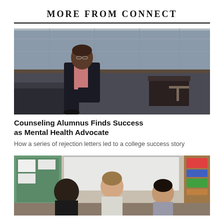MORE FROM CONNECT
[Figure (photo): A man in a dark suit sits on a couch in a modern building lobby with large windows behind him.]
Counseling Alumnus Finds Success as Mental Health Advocate
How a series of rejection letters led to a college success story
[Figure (photo): Three women in a classroom setting, smiling and talking, with a bulletin board and whiteboard visible in the background.]